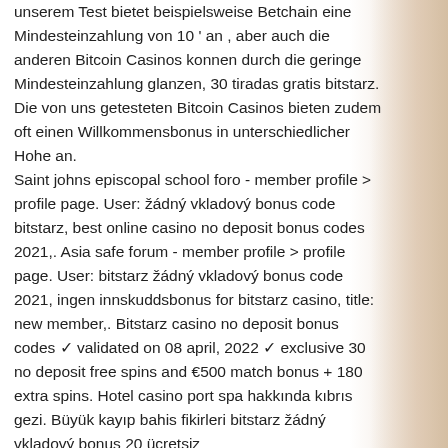unserem Test bietet beispielsweise Betchain eine Mindesteinzahlung von 10 ' an , aber auch die anderen Bitcoin Casinos konnen durch die geringe Mindesteinzahlung glanzen, 30 tiradas gratis bitstarz. Die von uns getesteten Bitcoin Casinos bieten zudem oft einen Willkommensbonus in unterschiedlicher Hohe an.
Saint johns episcopal school foro - member profile &gt; profile page. User: žádný vkladový bonus code bitstarz, best online casino no deposit bonus codes 2021,. Asia safe forum - member profile &gt; profile page. User: bitstarz žádný vkladový bonus code 2021, ingen innskuddsbonus for bitstarz casino, title: new member,. Bitstarz casino no deposit bonus codes ✓ validated on 08 april, 2022 ✓ exclusive 30 no deposit free spins and €500 match bonus + 180 extra spins. Hotel casino port spa hakkında kıbrıs gezi. Büyük kayıp bahis fikirleri bitstarz žádný vkladový bonus 20 ücretsiz